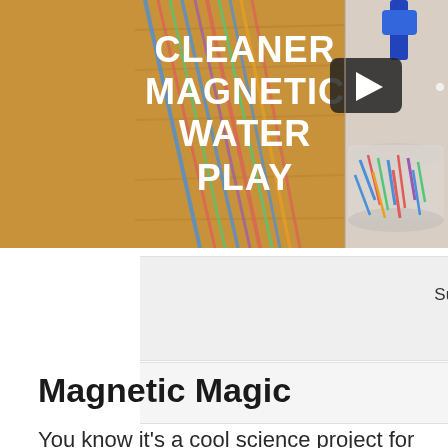[Figure (screenshot): Video thumbnail showing 'Cleaner Magnetic Water Play' text on a wooden background with colorful straws, and a bowl of colorful items on the right side with a play button overlay]
Subscribe to KidsKonnect on YouTube →
Magnetic Magic
You know it's a cool science project for